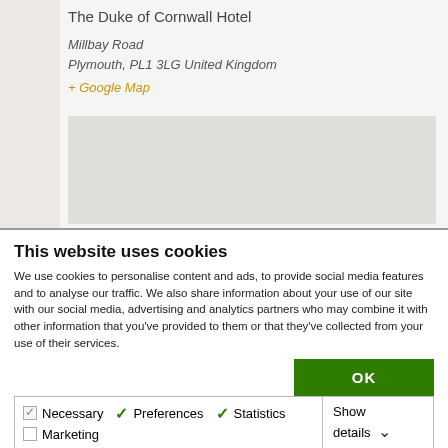The Duke of Cornwall Hotel
Millbay Road
Plymouth, PL1 3LG United Kingdom
+ Google Map
[Figure (map): Grey placeholder rectangle representing an embedded Google Map area]
This website uses cookies
We use cookies to personalise content and ads, to provide social media features and to analyse our traffic. We also share information about your use of our site with our social media, advertising and analytics partners who may combine it with other information that you've provided to them or that they've collected from your use of their services.
OK
| Necessary | Preferences | Statistics | Show details |
| Marketing |  |  |  |